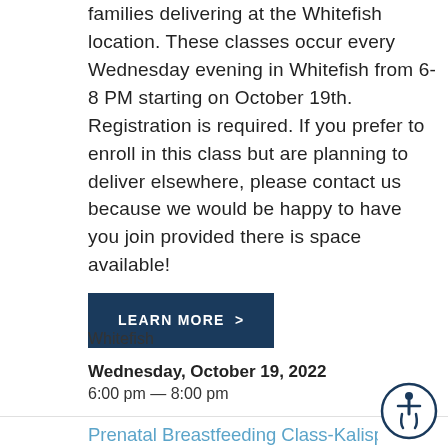families delivering at the Whitefish location. These classes occur every Wednesday evening in Whitefish from 6-8 PM starting on October 19th. Registration is required. If you prefer to enroll in this class but are planning to deliver elsewhere, please contact us because we would be happy to have you join provided there is space available!
LEARN MORE >
Whitefish
Wednesday, October 19, 2022
6:00 pm — 8:00 pm
Prenatal Breastfeeding Class-Kalisp
This class helps soon-to-be parents learn the